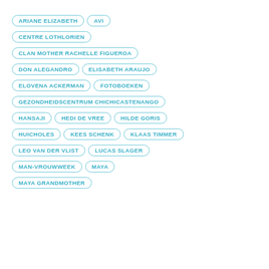ARIANE ELIZABETH
AVI
CENTRE LOTHLORIEN
CLAN MOTHER RACHELLE FIGUEROA
DON ALEGANDRO
ELISABETH ARAUJO
ELOVENA ACKERMAN
FOTOBOEKEN
GEZONDHEIDSCENTRUM CHICHICASTENANGO
HANSAJI
HEDI DE VREE
HILDE GORIS
HUICHOLES
KEES SCHENK
KLAAS TIMMER
LEO VAN DER VLIST
LUCAS SLAGER
MAN-VROUWWEEK
MAYA
MAYA GRANDMOTHER